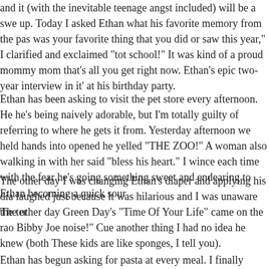and it (with the inevitable teenage angst included) will be a swe up. Today I asked Ethan what his favorite memory from the pas was your favorite thing that you did or saw this year," I clarified and exclaimed "tot school!" It was kind of a proud mommy mom that's all you get right now. Ethan's epic two-year interview in it' at his birthday party.
Ethan has been asking to visit the pet store every afternoon. He he's being naively adorable, but I'm totally guilty of referring to where he gets it from. Yesterday afternoon we held hands into opened he yelled "THE ZOO!" A woman also walking in with her said "bless his heart." I wince each time with the fear he's going something sweet and endearing to Ethan becoming a quick sour
The other day I was changing Ethan's diaper and applying his dia laughed just because it was hilarious and I was unaware the ter
The other day Green Day's "Time Of Your Life" came on the rao Bibby Joe noise!" Cue another thing I had no idea he knew (both These kids are like sponges, I tell you).
Ethan has begun asking for pasta at every meal. I finally asked h